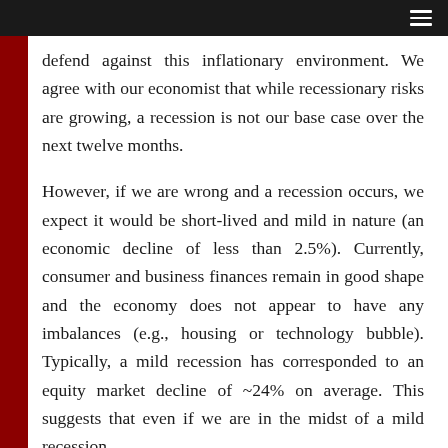defend against this inflationary environment. We agree with our economist that while recessionary risks are growing, a recession is not our base case over the next twelve months.
However, if we are wrong and a recession occurs, we expect it would be short-lived and mild in nature (an economic decline of less than 2.5%). Currently, consumer and business finances remain in good shape and the economy does not appear to have any imbalances (e.g., housing or technology bubble). Typically, a mild recession has corresponded to an equity market decline of ~24% on average. This suggests that even if we are in the midst of a mild recession,